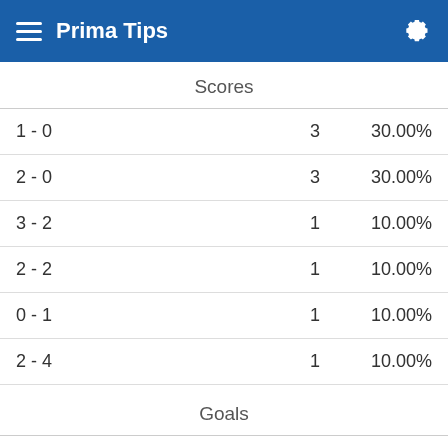Prima Tips
Scores
| Score | Count | Percentage |
| --- | --- | --- |
| 1 - 0 | 3 | 30.00% |
| 2 - 0 | 3 | 30.00% |
| 3 - 2 | 1 | 10.00% |
| 2 - 2 | 1 | 10.00% |
| 0 - 1 | 1 | 10.00% |
| 2 - 4 | 1 | 10.00% |
Goals
| Goals | Count | Percentage |
| --- | --- | --- |
| 1 | 4 | 40.00% |
| 2 | 3 | 30.00% |